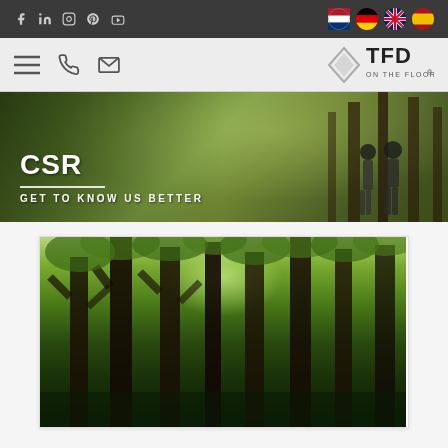Social media icons: Facebook, LinkedIn, Instagram, Pinterest, YouTube | Language flags: Netherlands, Germany, UK, Spain
[Figure (screenshot): TFD On The Floor logo with diamond/rhombus icon in grey]
[Figure (photo): Hero banner with forest/nature background showing two people (children/adults) walking holding hands, with trees in background]
CSR
GET TO KNOW US BETTER
[Figure (photo): Forest photo showing tall conifer tree trunks with light filtering through the canopy, green foliage visible above]